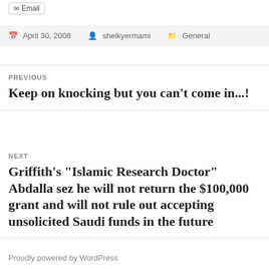[Figure (other): Email button/icon at top]
April 30, 2008   sheikyermami   General
PREVIOUS
Keep on knocking but you can't come in...!
NEXT
Griffith's "Islamic Research Doctor" Abdalla sez he will not return the $100,000 grant and will not rule out accepting unsolicited Saudi funds in the future
Proudly powered by WordPress